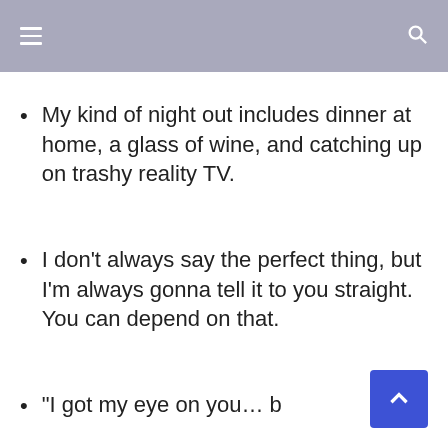navigation header with hamburger menu and search icon
My kind of night out includes dinner at home, a glass of wine, and catching up on trashy reality TV.
I don't always say the perfect thing, but I'm always gonna tell it to you straight. You can depend on that.
“I got my eye on you… b